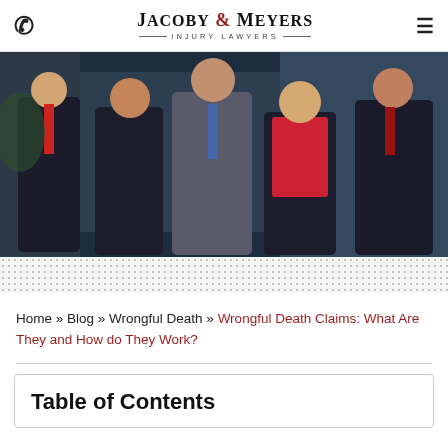Jacoby & Meyers Injury Lawyers
[Figure (photo): Group photo of five legal professionals in business attire posed in front of a building]
Home » Blog » Wrongful Death » Wrongful Death Claims: What Are They and How do They Work?
Table of Contents